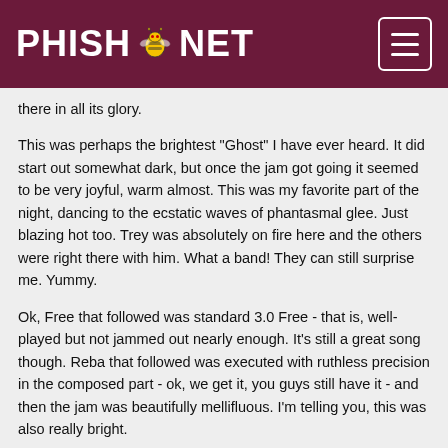PHISH.NET
there in all its glory.
This was perhaps the brightest "Ghost" I have ever heard. It did start out somewhat dark, but once the jam got going it seemed to be very joyful, warm almost. This was my favorite part of the night, dancing to the ecstatic waves of phantasmal glee. Just blazing hot too. Trey was absolutely on fire here and the others were right there with him. What a band! They can still surprise me. Yummy.
Ok, Free that followed was standard 3.0 Free - that is, well-played but not jammed out nearly enough. It's still a great song though. Reba that followed was executed with ruthless precision in the composed part - ok, we get it, you guys still have it - and then the jam was beautifully mellifluous. I'm telling you, this was also really bright.